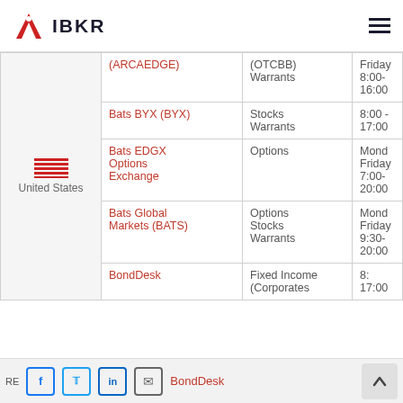IBKR
| Country | Exchange | Products | Hours |
| --- | --- | --- | --- |
| United States | (ARCAEDGE) | (OTCBB) Warrants | Friday 8:00-16:00 |
|  | Bats BYX (BYX) | Stocks Warrants | 8:00 - 17:00 |
|  | Bats EDGX Options Exchange | Options | Monday-Friday 7:00-20:00 |
|  | Bats Global Markets (BATS) | Options Stocks Warrants | Monday-Friday 9:30-20:00 |
|  | BondDesk | Fixed Income (Corporates | 8: 17:00 |
RE | Facebook | Twitter | LinkedIn | Email | BondDesk